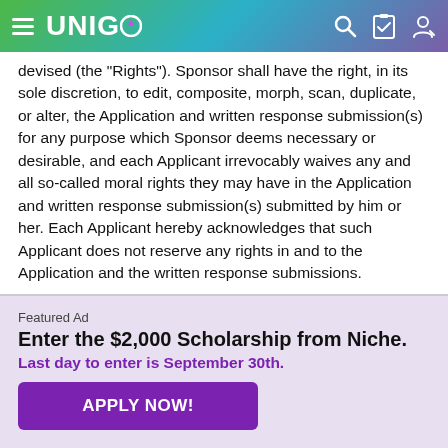UNIGO
devised (the "Rights"). Sponsor shall have the right, in its sole discretion, to edit, composite, morph, scan, duplicate, or alter, the Application and written response submission(s) for any purpose which Sponsor deems necessary or desirable, and each Applicant irrevocably waives any and all so-called moral rights they may have in the Application and written response submission(s) submitted by him or her. Each Applicant hereby acknowledges that such Applicant does not reserve any rights in and to the Application and the written response submissions.
Featured Ad
Enter the $2,000 Scholarship from Niche.
Last day to enter is September 30th.
APPLY NOW!